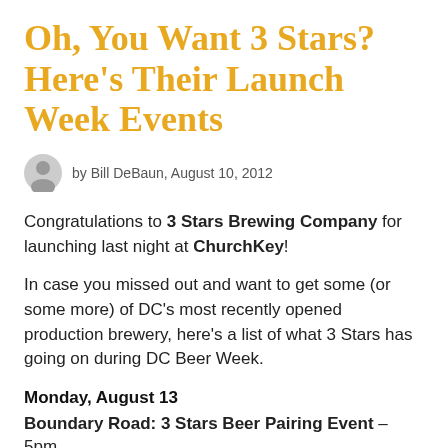Oh, You Want 3 Stars? Here's Their Launch Week Events
by Bill DeBaun, August 10, 2012
Congratulations to 3 Stars Brewing Company for launching last night at ChurchKey!
In case you missed out and want to get some (or some more) of DC's most recently opened production brewery, here's a list of what 3 Stars has going on during DC Beer Week.
Monday, August 13
Boundary Road: 3 Stars Beer Pairing Event – 5pm
Boundary Road – 414 H Street NE